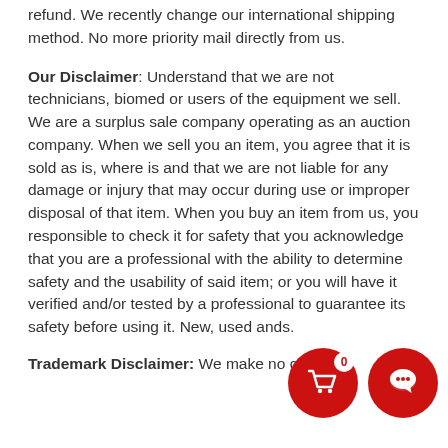refund. We recently change our international shipping method. No more priority mail directly from us.
Our Disclaimer: Understand that we are not technicians, biomed or users of the equipment we sell. We are a surplus sale company operating as an auction company. When we sell you an item, you agree that it is sold as is, where is and that we are not liable for any damage or injury that may occur during use or improper disposal of that item. When you buy an item from us, you responsible to check it for safety that you acknowledge that you are a professional with the ability to determine safety and the usability of said item; or you will have it verified and/or tested by a professional to guarantee its safety before using it. New, used and...
Trademark Disclaimer: We make no claim of...